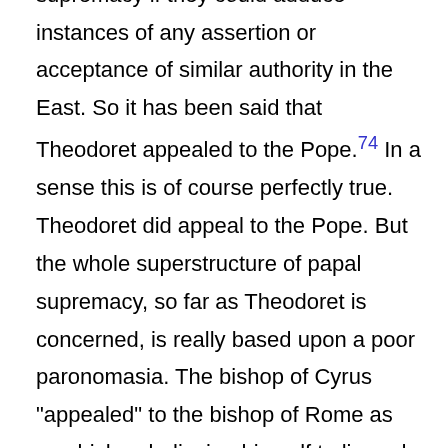useful to maintainers of the Roman supremacy if they could adduce instances of any assertion or acceptance of similar authority in the East. So it has been said that Theodoret appealed to the Pope.[74] In a sense this is of course perfectly true. Theodoret did appeal to the Pope. But the whole superstructure of papal supremacy, so far as Theodoret is concerned, is really based upon a poor paronomasia. The bishop of Cyrus "appealed" to the bishop of Rome as any bishop believing himself to lie under an unjust sentence might